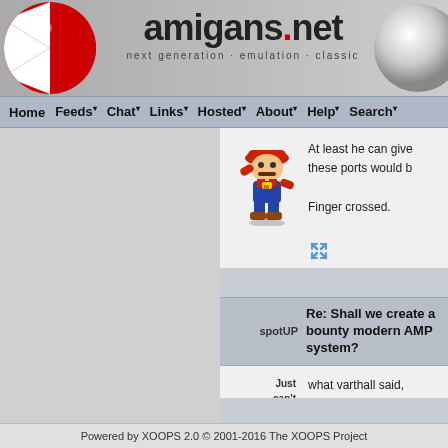[Figure (screenshot): amigans.net website header with logo, navigation bar, and forum content showing two forum posts about a bounty for a modern AMP system]
amigans.net — next generation · emulation · classic
Home Feeds Chat Links Hosted About Help Search
At least he can give... these ports would b...
Finger crossed.
spotUP  Re: Shall we create a bounty modern AMP system?
Just can't stay away
what varthall said, exactly.
Powered by XOOPS 2.0 © 2001-2016 The XOOPS Project